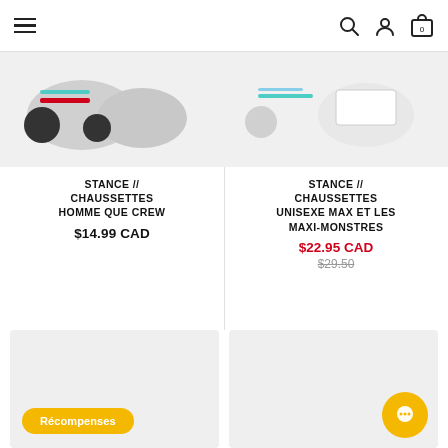Navigation header with hamburger menu, search, user, and cart icons
[Figure (photo): Gray crew socks with black toes/heels and red/teal stripe detail, Stance brand]
STANCE // CHAUSSETTES HOMME QUE CREW
$14.99 CAD
[Figure (photo): White socks with light blue teal detail, Stance brand Max et les Maxi-Monstres]
STANCE // CHAUSSETTES UNISEXE MAX ET LES MAXI-MONSTRES
$22.95 CAD
$29.50
[Figure (photo): Gray product card placeholder with Récompenses yellow button]
[Figure (photo): Gray product card placeholder with yellow chat bubble icon]